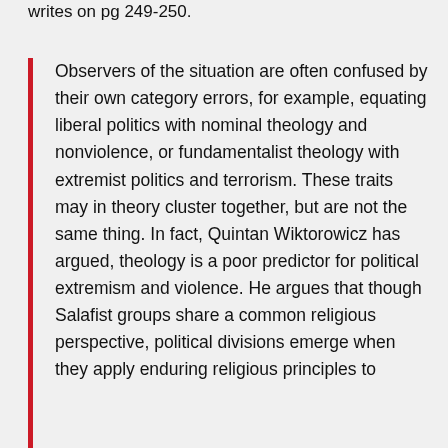writes on pg 249-250.
Observers of the situation are often confused by their own category errors, for example, equating liberal politics with nominal theology and nonviolence, or fundamentalist theology with extremist politics and terrorism. These traits may in theory cluster together, but are not the same thing. In fact, Quintan Wiktorowicz has argued, theology is a poor predictor for political extremism and violence. He argues that though Salafist groups share a common religious perspective, political divisions emerge when they apply enduring religious principles to